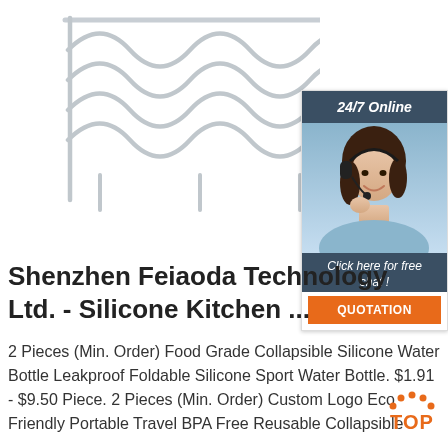[Figure (photo): Wire cooling rack / baking rack product photo on white background]
[Figure (infographic): 24/7 Online chat widget with dark blue header, photo of a woman with headset, 'Click here for free chat!' text, and orange QUOTATION button]
Shenzhen Feiaoda Technology Ltd. - Silicone Kitchen ...
2 Pieces (Min. Order) Food Grade Collapsible Silicone Water Bottle Leakproof Foldable Silicone Sport Water Bottle. $1.91 - $9.50 Piece. 2 Pieces (Min. Order) Custom Logo Eco Friendly Portable Travel BPA Free Reusable Collapsible
[Figure (logo): TOP badge/logo with orange dotted arc above bold orange TOP text]